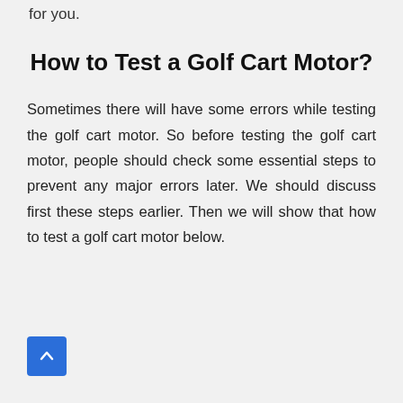for you.
How to Test a Golf Cart Motor?
Sometimes there will have some errors while testing the golf cart motor. So before testing the golf cart motor, people should check some essential steps to prevent any major errors later. We should discuss first these steps earlier. Then we will show that how to test a golf cart motor below.